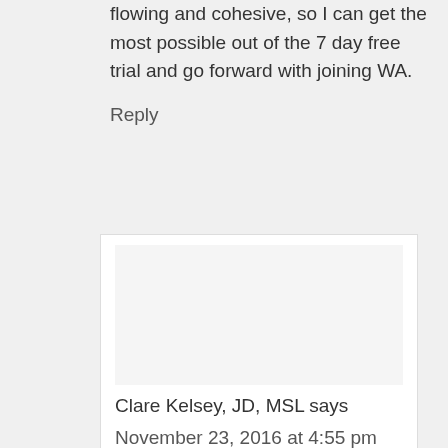flowing and cohesive, so I can get the most possible out of the 7 day free trial and go forward with joining WA.
Reply
Clare Kelsey, JD, MSL says
November 23, 2016 at 4:55 pm
Clare Id....